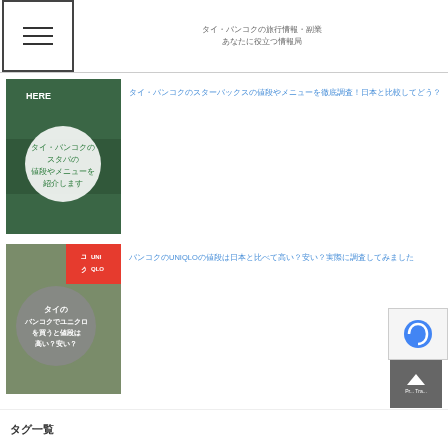タイ・バンコクの旅行情報・副業 あなたに役立つ情報局
[Figure (photo): Starbucks image with Japanese text overlay: タイ・バンコクのスタバの値段やメニューを紹介します]
タイ・バンコクのスターバックスの値段やメニューを徹底調査！日本と比較してどう？
[Figure (photo): UNIQLO store image with Japanese text overlay: タイのバンコクでユニクロを買うと値段は高い？安い？]
バンコクのUNIQLOの値段は日本と比べて高い？安い？実際に調査してみました
[Figure (photo): Thai snack products image showing packaged fruit snacks]
タイのお土産おすすめランキング9選
タグ一覧